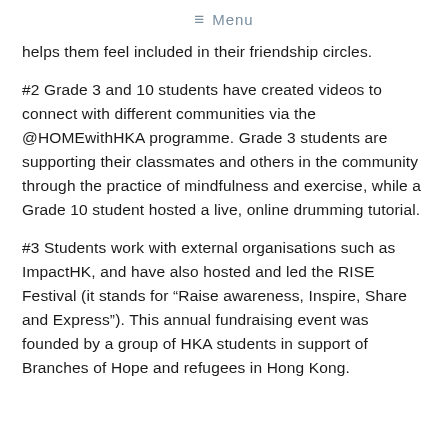☰ Menu
helps them feel included in their friendship circles.
#2 Grade 3 and 10 students have created videos to connect with different communities via the @HOMEwithHKA programme. Grade 3 students are supporting their classmates and others in the community through the practice of mindfulness and exercise, while a Grade 10 student hosted a live, online drumming tutorial.
#3 Students work with external organisations such as ImpactHK, and have also hosted and led the RISE Festival (it stands for “Raise awareness, Inspire, Share and Express”). This annual fundraising event was founded by a group of HKA students in support of Branches of Hope and refugees in Hong Kong.